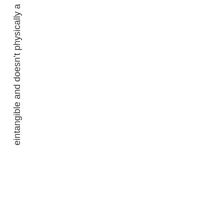eintangible and doesn't physically a